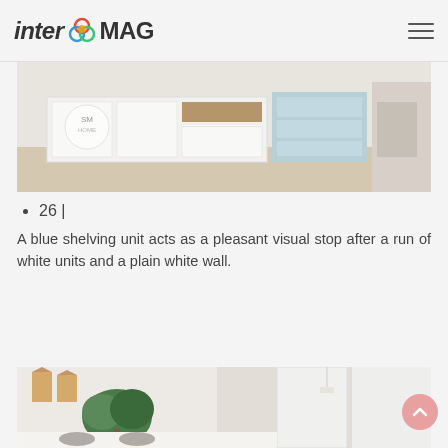inter MAG
[Figure (photo): Interior room photo showing white cabinets/shelving units with a blue shelving unit accent, light wood floors]
26 |
A blue shelving unit acts as a pleasant visual stop after a run of white units and a plain white wall.
[Figure (photo): Interior living/workspace photo with white walls, wood shelves shaped like houses, large green plant, white door, modern chairs]